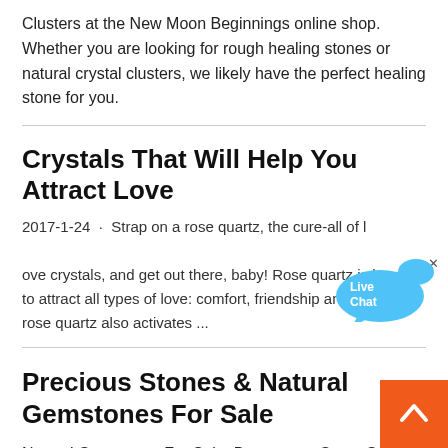Clusters at the New Moon Beginnings online shop. Whether you are looking for rough healing stones or natural crystal clusters, we likely have the perfect healing stone for you.
Crystals That Will Help You Attract Love
2017-1-24 · Strap on a rose quartz, the cure-all of love crystals, and get out there, baby! Rose quartz is known to attract all types of love: comfort, friendship and . In turn, rose quartz also activates ...
Precious Stones & Natural Gemstones For Sale
Natural Gemstones For Sale. Browse our Gems Store and select your favorite gemstone, you can choose from a huge